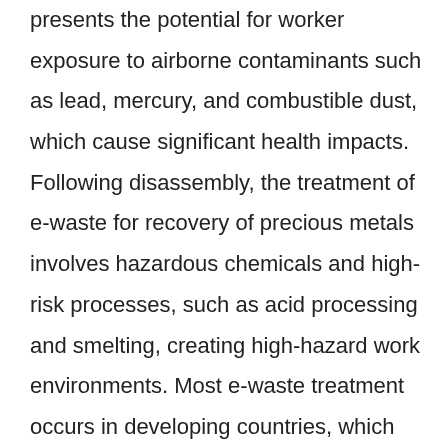presents the potential for worker exposure to airborne contaminants such as lead, mercury, and combustible dust, which cause significant health impacts. Following disassembly, the treatment of e-waste for recovery of precious metals involves hazardous chemicals and high-risk processes, such as acid processing and smelting, creating high-hazard work environments. Most e-waste treatment occurs in developing countries, which often lack the regulatory controls, safety infrastructure, and culture to keep their workers safe. Research by the World Health Organization (Grant et al. 2013) identified associations between e-waste exposure and thyroid dysfunction, adverse birth outcomes, behavioral changes, decreased lung function, and adverse